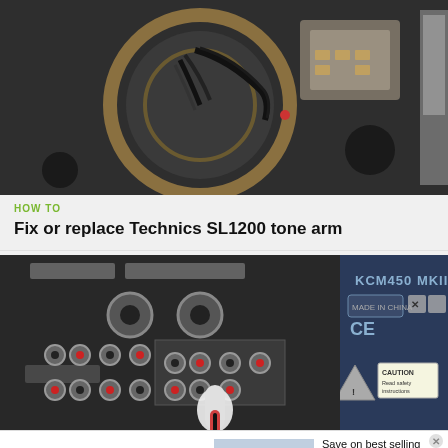[Figure (photo): Top-down view of a Technics SL1200 turntable motor assembly with wiring and electronic components visible, dark background]
HOW TO
Fix or replace Technics SL1200 tone arm
[Figure (photo): Back panel of a KCM450 MKII audio amplifier showing RCA input/output connectors, labels, CE mark, and caution sticker, with cables being connected]
[Figure (photo): Wayfair advertisement showing Top Appliances at Low Prices with a shop now button and appliance image]